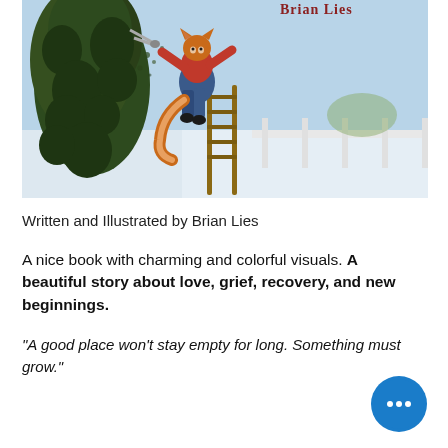[Figure (illustration): Book cover illustration showing an anthropomorphic fox in a red shirt and blue overalls standing on a wooden ladder, using hedge clippers to trim a large dark green topiary/hedge. The background shows a light blue sky and white fence. Text 'Brian Lies' visible in top right corner.]
Written and Illustrated by Brian Lies
A nice book with charming and colorful visuals. A beautiful story about love, grief, recovery, and new beginnings.
“A good place won’t stay empty for long. Something must grow.”